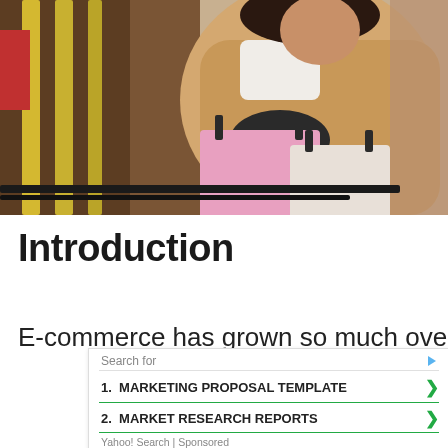[Figure (photo): A woman with curly hair wearing a tan/beige coat and black gloves, holding pink and white shopping bags, standing near a black railing with yellow vertical bars in the background.]
Introduction
E-commerce has grown so much over the past
[Figure (screenshot): Yahoo Search sponsored ad overlay showing: 'Search for' header with arrow icon, item 1: MARKETING PROPOSAL TEMPLATE, item 2: MARKET RESEARCH REPORTS, footer: Yahoo! Search | Sponsored]